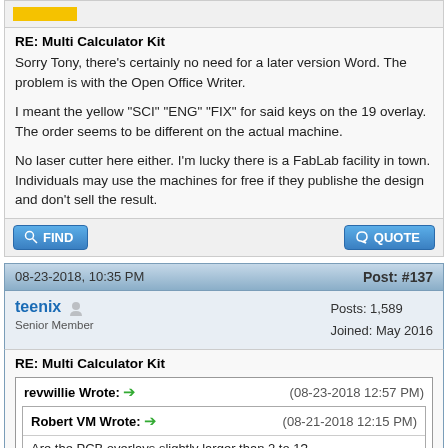[Figure (other): Yellow avatar/badge bar at top of forum post]
RE: Multi Calculator Kit
Sorry Tony, there's certainly no need for a later version Word. The problem is with the Open Office Writer.

I meant the yellow "SCI" "ENG" "FIX" for said keys on the 19 overlay. The order seems to be different on the actual machine.

No laser cutter here either. I'm lucky there is a FabLab facility in town. Individuals may use the machines for free if they publishe the design and don't sell the result.
FIND   QUOTE
08-23-2018, 10:35 PM   Post: #137
teenix
Senior Member
Posts: 1,589
Joined: May 2016
RE: Multi Calculator Kit
revwillie Wrote: → (08-23-2018 12:57 PM)
Robert VM Wrote: → (08-21-2018 12:15 PM)
Are the PCB overlays slightly larger than 2 to 1?